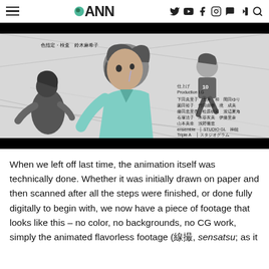ANN (Anime News Network) navigation bar with logo and social media icons
[Figure (screenshot): Anime screenshot from Haikyuu showing volleyball players in motion with Japanese production credits overlaid, including color design credits (色指定・検査 鈴木麻希子), Production I.G staff names, ensemble Triple A, STUDIO GL / スタジオグラム, and 神能]
When we left off last time, the animation itself was technically done. Whether it was initially drawn on paper and then scanned after all the steps were finished, or done fully digitally to begin with, we now have a piece of footage that looks like this – no color, no backgrounds, no CG work, simply the animated flavorless footage (線撮, sensatsu; as it